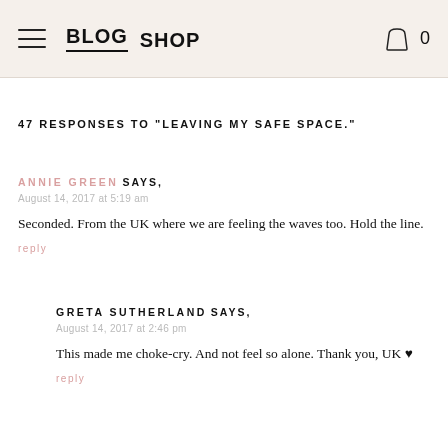BLOG  SHOP  [cart icon] 0
47 RESPONSES TO "LEAVING MY SAFE SPACE."
ANNIE GREEN SAYS,
August 14, 2017 at 5:19 am

Seconded. From the UK where we are feeling the waves too. Hold the line.

reply
GRETA SUTHERLAND SAYS,
August 14, 2017 at 2:46 pm

This made me choke-cry. And not feel so alone. Thank you, UK ♥

reply